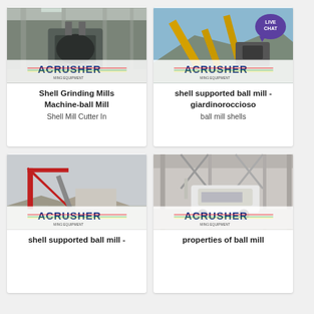[Figure (photo): Industrial interior photo of a large grinding mill machine in a factory with steel framework and equipment. ACRUSHER logo overlay at bottom.]
Shell Grinding Mills Machine-ball Mill
Shell Mill Cutter In
[Figure (photo): Outdoor photo of yellow conveyor belt and crusher equipment on a hillside. LIVE CHAT badge in top-right corner. ACRUSHER logo overlay at bottom.]
shell supported ball mill - giardinoroccioso
ball mill shells
[Figure (photo): Outdoor industrial photo of red crane and conveyor structure with hazy sky. ACRUSHER logo overlay at bottom.]
shell supported ball mill -
[Figure (photo): Interior warehouse/hangar photo showing white mobile crusher machine on wheels on concrete floor. ACRUSHER logo overlay at bottom.]
properties of ball mill